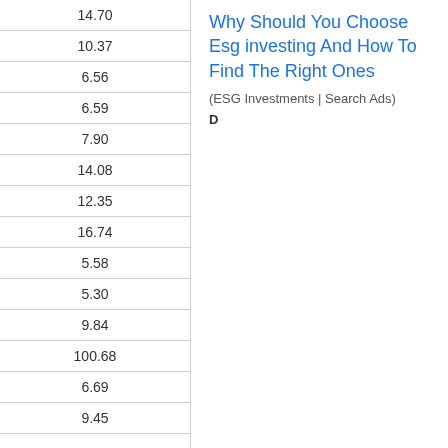| 14.70 |
| 10.37 |
| 6.56 |
| 6.59 |
| 7.90 |
| 14.08 |
| 12.35 |
| 16.74 |
| 5.58 |
| 5.30 |
| 9.84 |
| 100.68 |
| 6.69 |
| 9.45 |
Why Should You Choose Esg investing And How To Find The Right Ones
(ESG Investments | Search Ads)
D